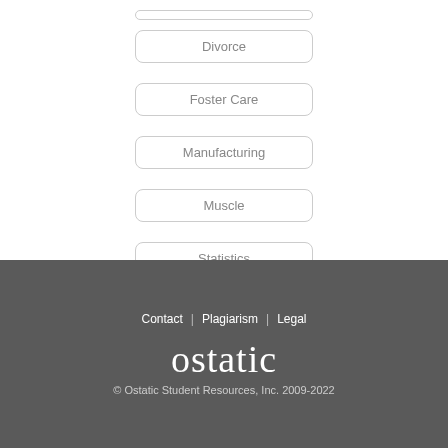Divorce
Foster Care
Manufacturing
Muscle
Statistics
Contact | Plagiarism | Legal
ostatic
© Ostatic Student Resources, Inc. 2009-2022